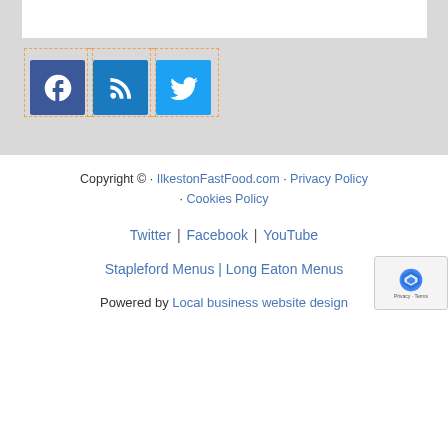[Figure (screenshot): Gray background section with white box at top and three social media icon buttons (Facebook, RSS, Twitter) with dashed orange borders]
Copyright © · IlkestonFastFood.com · Privacy Policy · Cookies Policy
Twitter | Facebook | YouTube
Stapleford Menus | Long Eaton Menus
Powered by Local business website design